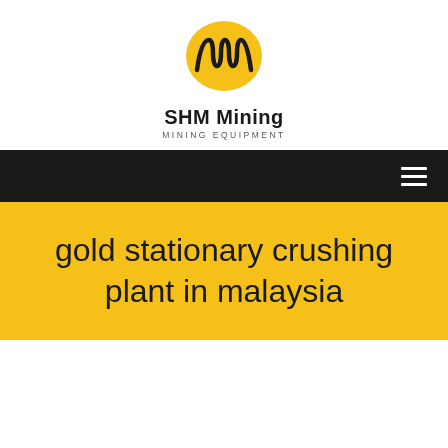[Figure (logo): SHM Mining logo: yellow ellipse with black diagonal lines (stylized M), company name 'SHM Mining' in bold and 'MINING EQUIPMENT' in small caps below]
gold stationary crushing plant in malaysia